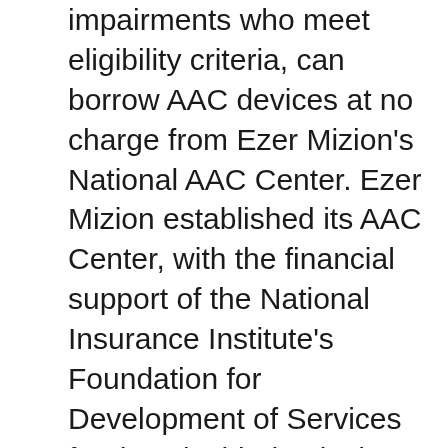People with a range of communication impairments who meet eligibility criteria, can borrow AAC devices at no charge from Ezer Mizion's National AAC Center. Ezer Mizion established its AAC Center, with the financial support of the National Insurance Institute's Foundation for Development of Services for the Disabled. It is the only one of its kind in the Middle East and one of a few in the entire world. The Center is directed by Yonit Hagoel-Karnieli, a highly respected and well known speech clinician specializing in augmentative, alternative communication. Each year, Ezer Mizion's AAC Loan Center